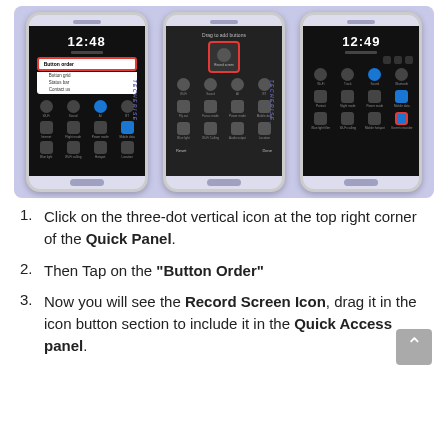[Figure (screenshot): Three smartphone screenshots showing steps to access Button Order in Quick Panel: first phone shows Quick Panel with 'Button order' option highlighted in a popup menu (12:48), second phone shows drag-and-drop screen with Record Screen icon highlighted in a red box, third phone shows Quick Panel at 12:49 with Record Screen icon highlighted in the bottom-right position.]
Click on the three-dot vertical icon at the top right corner of the Quick Panel.
Then Tap on the "Button Order"
Now you will see the Record Screen Icon, drag it in the icon button section to include it in the Quick Access panel.